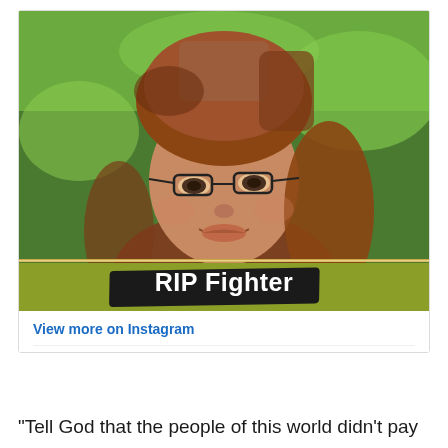[Figure (photo): Woman wearing a brown headscarf and glasses, smiling, with green background. Overlaid text 'RIP Fighter' on a black brush stroke banner. Below is an olive/yellow-green strip.]
View more on Instagram
"Tell God that the people of this world didn't pay attention to RIP Fighter", became a famous last quote